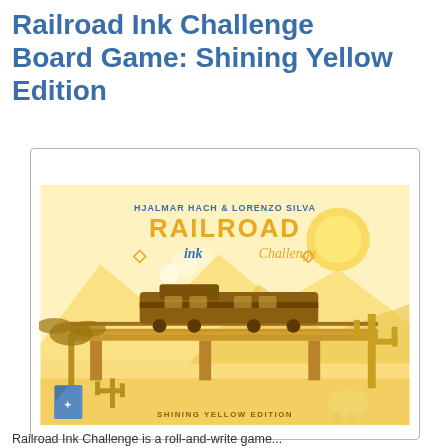Railroad Ink Challenge Board Game: Shining Yellow Edition
Tweet
[Figure (illustration): Box art for Railroad Ink Challenge: Shining Yellow Edition. Yellow-toned desert scene with a steam train crossing a bridge, cacti, palm trees, mountains, and a sun in the background. Authors: Hjalmar Hach & Lorenzo Silva. Publisher shield logo in bottom-left corner. Text at bottom reads SHINING YELLOW EDITION.]
Railroad Ink Challenge is a roll-and-write game...